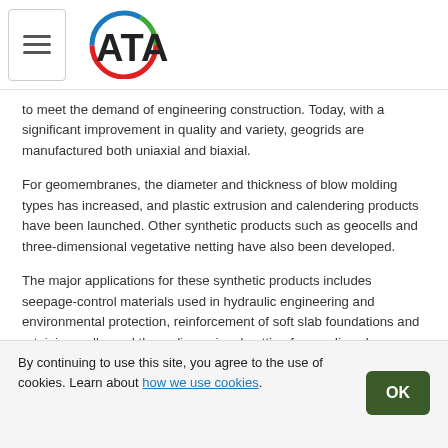ATA (logo)
to meet the demand of engineering construction. Today, with a significant improvement in quality and variety, geogrids are manufactured both uniaxial and biaxial.
For geomembranes, the diameter and thickness of blow molding types has increased, and plastic extrusion and calendering products have been launched. Other synthetic products such as geocells and three-dimensional vegetative netting have also been developed.
The major applications for these synthetic products includes seepage-control materials used in hydraulic engineering and environmental protection, reinforcement of soft slab foundations and retaining walls, and three-dimensional netting for seeding slope stabilization.
By continuing to use this site, you agree to the use of cookies. Learn about how we use cookies.